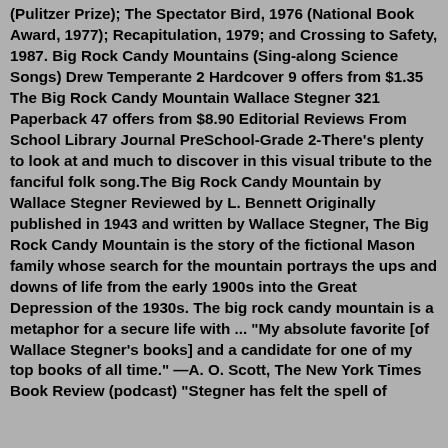(Pulitzer Prize); The Spectator Bird, 1976 (National Book Award, 1977); Recapitulation, 1979; and Crossing to Safety, 1987. Big Rock Candy Mountains (Sing-along Science Songs) Drew Temperante 2 Hardcover 9 offers from $1.35 The Big Rock Candy Mountain Wallace Stegner 321 Paperback 47 offers from $8.90 Editorial Reviews From School Library Journal PreSchool-Grade 2-There's plenty to look at and much to discover in this visual tribute to the fanciful folk song.The Big Rock Candy Mountain by Wallace Stegner Reviewed by L. Bennett Originally published in 1943 and written by Wallace Stegner, The Big Rock Candy Mountain is the story of the fictional Mason family whose search for the mountain portrays the ups and downs of life from the early 1900s into the Great Depression of the 1930s. The big rock candy mountain is a metaphor for a secure life with ... "My absolute favorite [of Wallace Stegner's books] and a candidate for one of my top books of all time." —A. O. Scott, The New York Times Book Review (podcast) "Stegner has felt the spell of